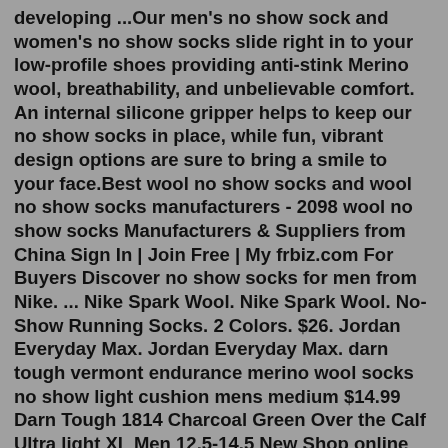developing ...Our men's no show sock and women's no show socks slide right in to your low-profile shoes providing anti-stink Merino wool, breathability, and unbelievable comfort. An internal silicone gripper helps to keep our no show socks in place, while fun, vibrant design options are sure to bring a smile to your face.Best wool no show socks and wool no show socks manufacturers - 2098 wool no show socks Manufacturers & Suppliers from China Sign In | Join Free | My frbiz.com For Buyers Discover no show socks for men from Nike. ... Nike Spark Wool. Nike Spark Wool. No-Show Running Socks. 2 Colors. $26. Jordan Everyday Max. Jordan Everyday Max. darn tough vermont endurance merino wool socks no show light cushion mens medium $14.99 Darn Tough 1814 Charcoal Green Over the Calf Ultra light XL Men 12.5-14.5 New Shop online for Wool/Wool Blend Women's Socks, No Show Socks, Ankle Socks . Free Shipping & Free Returns for Loyallists or most Orders Over $150! Bloomingdale's like no other store